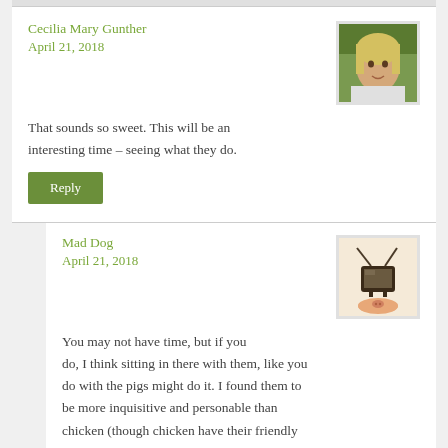Cecilia Mary Gunther
April 21, 2018
That sounds so sweet. This will be an interesting time – seeing what they do.
Reply
Mad Dog
April 21, 2018
You may not have time, but if you do, I think sitting in there with them, like you do with the pigs might do it. I found them to be more inquisitive and personable than chicken (though chicken have their friendly moments).